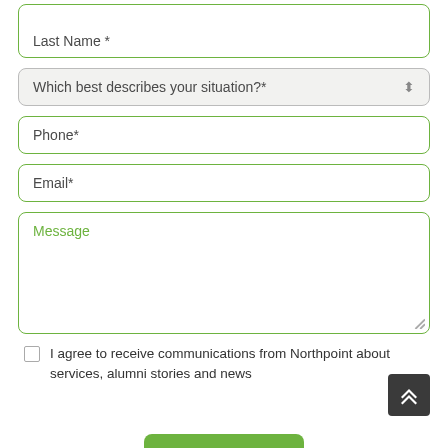Last Name *
Which best describes your situation?*
Phone*
Email*
Message
I agree to receive communications from Northpoint about services, alumni stories and news